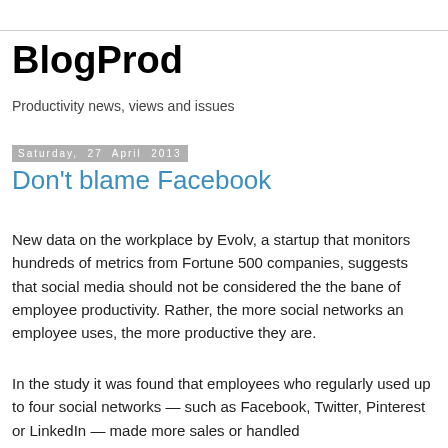BlogProd
Productivity news, views and issues
Saturday, 27 April 2013
Don't blame Facebook
New data on the workplace by Evolv, a startup that monitors hundreds of metrics from Fortune 500 companies, suggests that social media should not be considered the the bane of employee productivity. Rather, the more social networks an employee uses, the more productive they are.
In the study it was found that employees who regularly used up to four social networks — such as Facebook, Twitter, Pinterest or LinkedIn — made more sales or handled